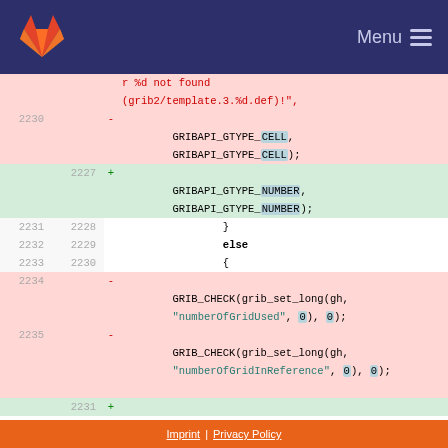GitLab Menu
[Figure (screenshot): Code diff view showing lines 2230-2235 (old) and 2227-2231 (new) with removed lines containing GRIBAPI_GTYPE_CELL and added lines with GRIBAPI_GTYPE_NUMBER, plus removed GRIB_CHECK calls]
Imprint | Privacy Policy